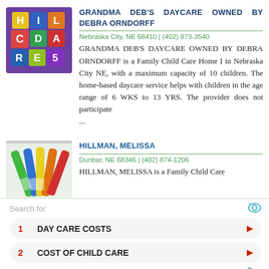[Figure (photo): Colorful alphabet wooden blocks arranged on purple background]
GRANDMA DEB'S DAYCARE OWNED BY DEBRA ORNDORFF
Nebraska City, NE 68410 | (402) 873-3540
GRANDMA DEB'S DAYCARE OWNED BY DEBRA ORNDORFF is a Family Child Care Home I in Nebraska City NE, with a maximum capacity of 10 children. The home-based daycare service helps with children in the age range of 6 WKS to 13 YRS. The provider does not participate ...
[Figure (photo): Colorful crayons or markers fanned out]
HILLMAN, MELISSA
Dunbar, NE 68346 | (402) 874-1206
HILLMAN, MELISSA is a Family Child Care
Search for
1  DAY CARE COSTS
2  COST OF CHILD CARE